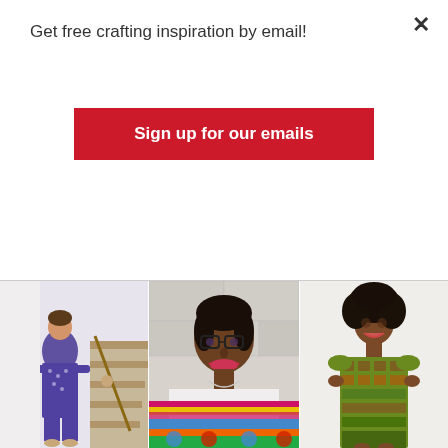Get free crafting inspiration by email!
Sign up for our emails
[Figure (photo): Woman wearing purple patterned dress standing on staircase]
[Figure (photo): Woman with glasses smiling, with colorful African wax fabrics below]
[Figure (photo): Woman wearing green patterned dress posing]